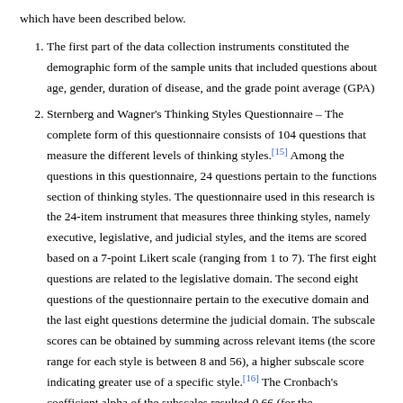which have been described below.
The first part of the data collection instruments constituted the demographic form of the sample units that included questions about age, gender, duration of disease, and the grade point average (GPA)
Sternberg and Wagner's Thinking Styles Questionnaire – The complete form of this questionnaire consists of 104 questions that measure the different levels of thinking styles.[15] Among the questions in this questionnaire, 24 questions pertain to the functions section of thinking styles. The questionnaire used in this research is the 24-item instrument that measures three thinking styles, namely executive, legislative, and judicial styles, and the items are scored based on a 7-point Likert scale (ranging from 1 to 7). The first eight questions are related to the legislative domain. The second eight questions of the questionnaire pertain to the executive domain and the last eight questions determine the judicial domain. The subscale scores can be obtained by summing across relevant items (the score range for each style is between 8 and 56), a higher subscale score indicating greater use of a specific style.[16] The Cronbach's coefficient alpha of the subscales resulted 0.66 (for the